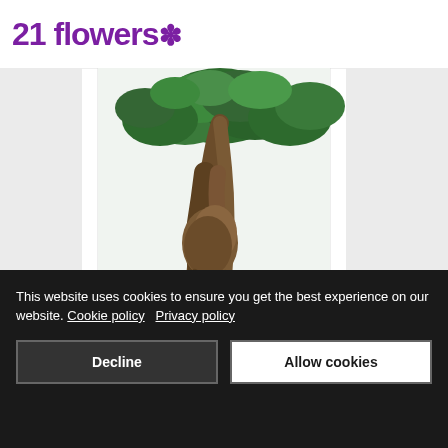21 flowers*
[Figure (photo): Bonsai ginseng ficus plant in a white ceramic pot on a white surface near a window, with twisted exposed roots and green foliage]
This website uses cookies to ensure you get the best experience on our website. Cookie policy   Privacy policy
Decline
Allow cookies